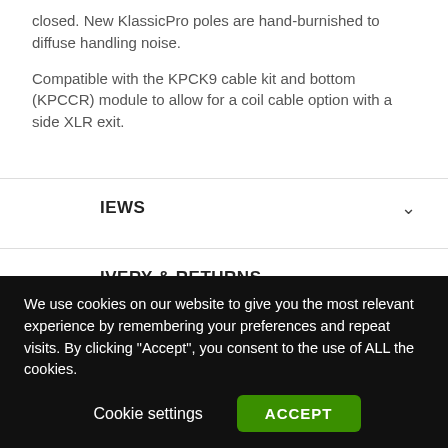closed. New KlassicPro poles are hand-burnished to diffuse handling noise.
Compatible with the KPCK9 cable kit and bottom (KPCCR) module to allow for a coil cable option with a side XLR exit.
REVIEWS
DELIVERY & RETURNS
[Figure (logo): Feefo Reviews badge - yellow vertical sidebar with Feefo logo and Reviews text]
We use cookies on our website to give you the most relevant experience by remembering your preferences and repeat visits. By clicking "Accept", you consent to the use of ALL the cookies.
Cookie settings   ACCEPT